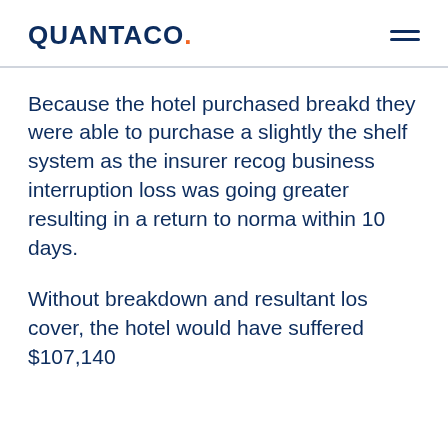QUANTACO.
Because the hotel purchased breakdown they were able to purchase a slightly the shelf system as the insurer recog business interruption loss was going greater resulting in a return to normal within 10 days.
Without breakdown and resultant loss cover, the hotel would have suffered $107,140